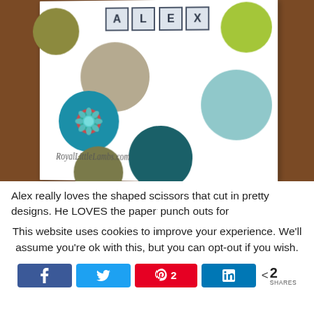[Figure (photo): Photo of a handmade card with colorful polka dots and letter blocks spelling ALEX on a white background, with RoyalLittleLambs.com watermark, placed on a wooden surface]
Alex really loves the shaped scissors that cut in pretty designs. He LOVES the paper punch outs for
This website uses cookies to improve your experience. We'll assume you're ok with this, but you can opt-out if you wish.
< 2 SHARES (social share buttons: Facebook, Twitter, Pinterest 2, LinkedIn)